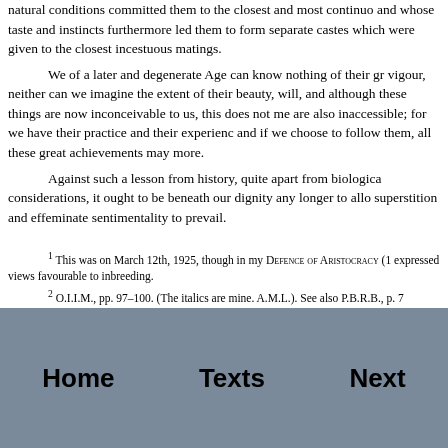natural conditions committed them to the closest and most continuo and whose taste and instincts furthermore led them to form separate castes which were given to the closest incestuous matings.

We of a later and degenerate Age can know nothing of their gr vigour, neither can we imagine the extent of their beauty, will, and although these things are now inconceivable to us, this does not me are also inaccessible; for we have their practice and their experienc and if we choose to follow them, all these great achievements may more.

Against such a lesson from history, quite apart from biologica considerations, it ought to be beneath our dignity any longer to allo superstition and effeminate sentimentality to prevail.
1 This was on March 12th, 1925, though in my Defence of Aristocracy (1 expressed views favourable to inbreeding.
2 O.I.I.M., pp. 97–100. (The italics are mine. A.M.L.). See also P.B.R.B., p. 7 welfare of the race, therefore, like should be encouraged to mate with like."
Home   Texts   Next